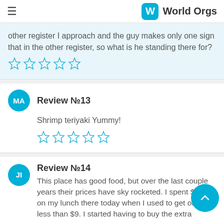World Orgs
other register I approach and the guy makes only one sign that in the other register, so what is he standing there for?
★★★★★ (1 star rating)
Review №13
Shrimp teriyaki Yummy!
★★★★★ (1 star rating)
Review №14
This place has good food, but over the last couple years their prices have sky rocketed. I spent $ on my lunch there today when I used to get out less than $9. I started having to buy the extra